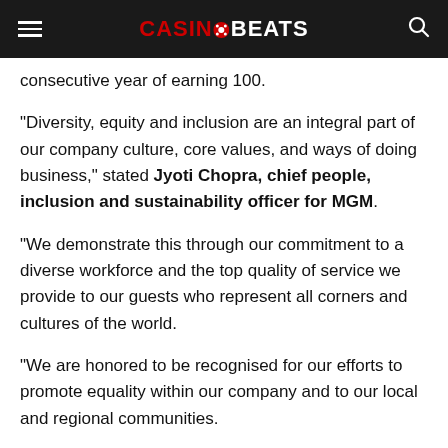CASINOBEATS
consecutive year of earning 100.
“Diversity, equity and inclusion are an integral part of our company culture, core values, and ways of doing business,” stated Jyoti Chopra, chief people, inclusion and sustainability officer for MGM.
“We demonstrate this through our commitment to a diverse workforce and the top quality of service we provide to our guests who represent all corners and cultures of the world.
“We are honored to be recognised for our efforts to promote equality within our company and to our local and regional communities.
“We intend to proudly focus on what matters, as we work